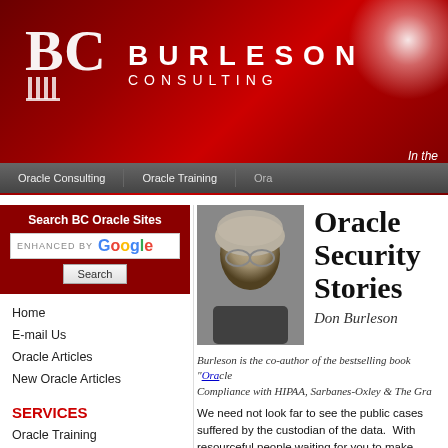[Figure (logo): Burleson Consulting header banner with BC logo, company name in large spaced letters on dark red background with glow effect. Navigation bar with Oracle Consulting, Oracle Training, Ora...]
[Figure (screenshot): Search BC Oracle Sites box with ENHANCED BY Google search bar and Search button]
Home
E-mail Us
Oracle Articles
New Oracle Articles
SERVICES
Oracle Training
Oracle Tips
Oracle Forum
Class Catalog
[Figure (photo): Black and white photo of Don Burleson, an older man with grey hair and glasses]
Oracle Security Stories
Don Burleson
Burleson is the co-author of the bestselling book "Oracle Compliance with HIPAA, Sarbanes-Oxley & The Gra...
We need not look far to see the public cases of damages suffered by the custodian of the data. With resourceful people waiting for you to make information. These attacks on your informa...